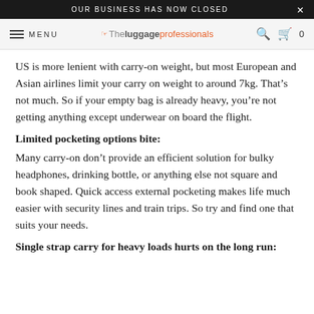OUR BUSINESS HAS NOW CLOSED
MENU — The Luggage Professionals — Search — Cart 0
US is more lenient with carry-on weight, but most European and Asian airlines limit your carry on weight to around 7kg. That's not much. So if your empty bag is already heavy, you're not getting anything except underwear on board the flight.
Limited pocketing options bite:
Many carry-on don't provide an efficient solution for bulky headphones, drinking bottle, or anything else not square and book shaped. Quick access external pocketing makes life much easier with security lines and train trips. So try and find one that suits your needs.
Single strap carry for heavy loads hurts on the long run: